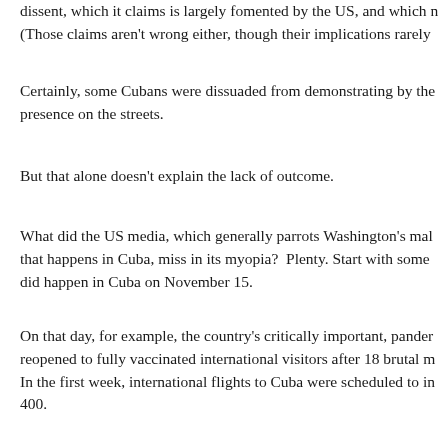dissent, which it claims is largely fomented by the US, and which n (Those claims aren't wrong either, though their implications rarely
Certainly, some Cubans were dissuaded from demonstrating by the presence on the streets.
But that alone doesn't explain the lack of outcome.
What did the US media, which generally parrots Washington's mal that happens in Cuba, miss in its myopia?  Plenty. Start with some did happen in Cuba on November 15.
On that day, for example, the country's critically important, pander reopened to fully vaccinated international visitors after 18 brutal m In the first week, international flights to Cuba were scheduled to in 400.
That became possible because Cuba has brought COVID under sor in part to a massive Cuba-wide vaccination program using vaccines